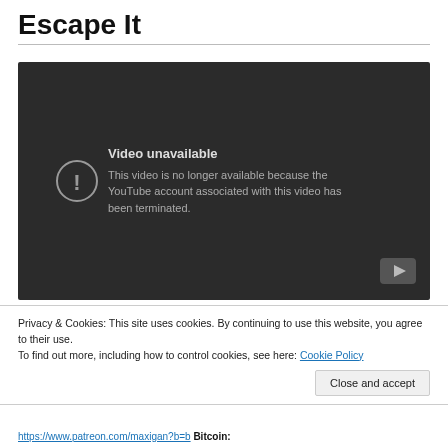Escape It
[Figure (screenshot): YouTube video embed showing 'Video unavailable' message. Text reads: 'Video unavailable. This video is no longer available because the YouTube account associated with this video has been terminated.' YouTube logo visible in bottom-right corner. Dark background.]
Privacy & Cookies: This site uses cookies. By continuing to use this website, you agree to their use.
To find out more, including how to control cookies, see here: Cookie Policy
Close and accept
https://www.patreon.com/maxigan?b=b Bitcoin: